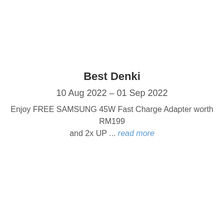Best Denki
10 Aug 2022 – 01 Sep 2022
Enjoy FREE SAMSUNG 45W Fast Charge Adapter worth RM199 and 2x UP ... read more